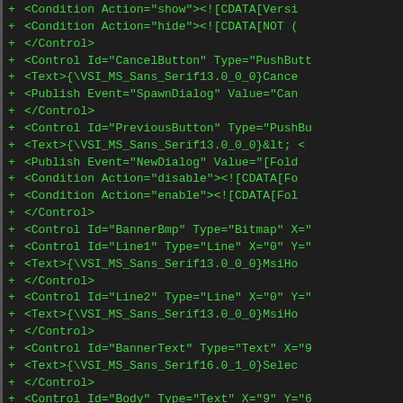+ <Condition Action="show"><!--[CDATA[Versi
+     <Condition Action="hide"><!--[CDATA[NOT (
+         </Control>
+         <Control Id="CancelButton" Type="PushButt
+             <Text>{\VSI_MS_Sans_Serif13.0_0_0}Cance
+             <Publish Event="SpawnDialog" Value="Can
+         </Control>
+         <Control Id="PreviousButton" Type="PushBu
+             <Text>{\VSI_MS_Sans_Serif13.0_0_0}&lt; <
+             <Publish Event="NewDialog" Value="[Fold
+             <Condition Action="disable"><!--[CDATA[Fo
+             <Condition Action="enable"><!--[CDATA[Fol
+         </Control>
+         <Control Id="BannerBmp" Type="Bitmap" X="
+         <Control Id="Line1" Type="Line" X="0" Y="
+             <Text>{\VSI_MS_Sans_Serif13.0_0_0}MsiHo
+         </Control>
+         <Control Id="Line2" Type="Line" X="0" Y="
+             <Text>{\VSI_MS_Sans_Serif13.0_0_0}MsiHo
+         </Control>
+         <Control Id="BannerText" Type="Text" X="9
+             <Text>{\VSI_MS_Sans_Serif16.0_1_0}Selec
+         </Control>
+         <Control Id="Body" Type="Text" X="9" Y="6
+             <Text>{\VSI_MS_Sans_Serif13.0_0_0}The i
+
+ To install in this folder, click "Next". To insta
+         </Control>
+         <Control Id="AllUsersText" Type="Text" X=
+             <Text>{\VSI_MS_Shell_Dlg13.0_0_0}Instal
+             <Condition Action="show"><!--[CDATA[Versi